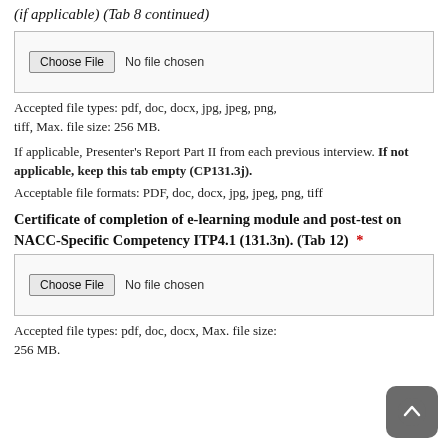(if applicable) (Tab 8 continued)
[Figure (screenshot): File upload widget with Choose File button and 'No file chosen' text]
Accepted file types: pdf, doc, docx, jpg, jpeg, png, tiff, Max. file size: 256 MB.
If applicable, Presenter's Report Part II from each previous interview. If not applicable, keep this tab empty (CP131.3j).
Acceptable file formats: PDF, doc, docx, jpg, jpeg, png, tiff
Certificate of completion of e-learning module and post-test on NACC-Specific Competency ITP4.1 (131.3n). (Tab 12) *
[Figure (screenshot): File upload widget with Choose File button and 'No file chosen' text]
Accepted file types: pdf, doc, docx, Max. file size: 256 MB.